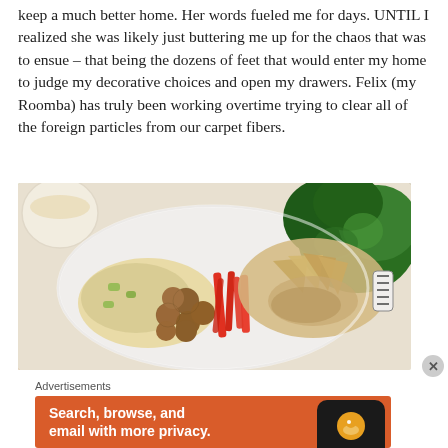keep a much better home. Her words fueled me for days. UNTIL I realized she was likely just buttering me up for the chaos that was to ensue – that being the dozens of feet that would enter my home to judge my decorative choices and open my drawers. Felix (my Roomba) has truly been working overtime trying to clear all of the foreign particles from our carpet fibers.
[Figure (photo): A bowl of food containing falafel, roasted vegetables, red pepper strips, pita bread, chicken, and fresh parsley garnish, with a cup of sauce in the background.]
Advertisements
[Figure (screenshot): An orange advertisement banner reading 'Search, browse, and email with more privacy.' with an image of a smartphone and what appears to be the DuckDuckGo duck logo.]